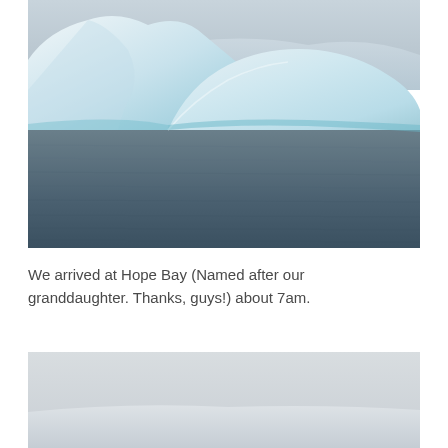[Figure (photo): Antarctic iceberg floating in grey-blue water with snow-covered hills visible in the background. The iceberg is large and white-blue with smooth curved surfaces.]
We arrived at Hope Bay (Named after our granddaughter. Thanks, guys!) about 7am.
[Figure (photo): Rocky Antarctic landscape in overcast conditions, with a rocky hill or outcrop visible against a pale grey sky.]